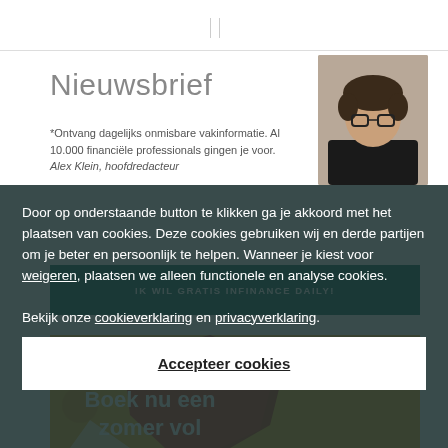Nieuwsbrief
*Ontvang dagelijks onmisbare vakinformatie. Al 10.000 financiële professionals gingen je voor.
Alex Klein, hoofdredacteur
IK WIL GRATIS INFINANCE DAILY!
[Figure (photo): Photo of Alex Klein, hoofdredacteur, man with curly hair and glasses]
[Figure (illustration): Summer advertisement banner with yellow/red background reading 'Boek nu een zomer vol']
Door op onderstaande button te klikken ga je akkoord met het plaatsen van cookies. Deze cookies gebruiken wij en derde partijen om je beter en persoonlijk te helpen. Wanneer je kiest voor weigeren, plaatsen we alleen functionele en analyse cookies.
Bekijk onze cookieverklaring en privacyverklaring.
Accepteer cookies